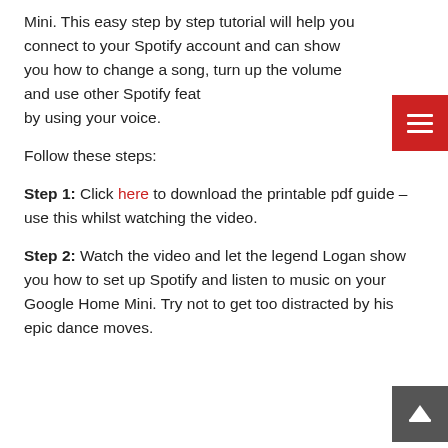Mini. This easy step by step tutorial will help you connect to your Spotify account and can show you how to change a song, turn up the volume and use other Spotify features by using your voice.
Follow these steps:
Step 1: Click here to download the printable pdf guide – use this whilst watching the video.
Step 2: Watch the video and let the legend Logan show you how to set up Spotify and listen to music on your Google Home Mini. Try not to get too distracted by his epic dance moves.